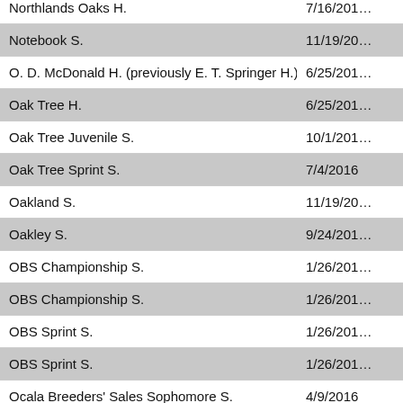| Race Name | Date |
| --- | --- |
| Northlands Oaks H. | 7/16/201… |
| Notebook S. | 11/19/20… |
| O. D. McDonald H. (previously E. T. Springer H.) | 6/25/201… |
| Oak Tree H. | 6/25/201… |
| Oak Tree Juvenile S. | 10/1/201… |
| Oak Tree Sprint S. | 7/4/2016 |
| Oakland S. | 11/19/20… |
| Oakley S. | 9/24/201… |
| OBS Championship S. | 1/26/201… |
| OBS Championship S. | 1/26/201… |
| OBS Sprint S. | 1/26/201… |
| OBS Sprint S. | 1/26/201… |
| Ocala Breeders' Sales Sophomore S. | 4/9/2016 |
| Oceanside S. | 7/15/201… |
| Ohio Debutante H. | 11/19/20… |
| OKC Turf Classic S. | 10/21/20… |
| Oklahoma Classics Cup S. | 10/21/20… |
| Oklahoma Classics Distaff S. | 10/21/20… |